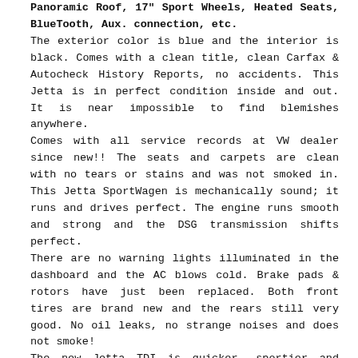Panoramic Roof, 17" Sport Wheels, Heated Seats, BlueTooth, Aux. connection, etc.
The exterior color is blue and the interior is black. Comes with a clean title, clean Carfax & Autocheck History Reports, no accidents. This Jetta is in perfect condition inside and out. It is near impossible to find blemishes anywhere.
Comes with all service records at VW dealer since new!! The seats and carpets are clean with no tears or stains and was not smoked in. This Jetta SportWagen is mechanically sound; it runs and drives perfect. The engine runs smooth and strong and the DSG transmission shifts perfect.
There are no warning lights illuminated in the dashboard and the AC blows cold. Brake pads & rotors have just been replaced. Both front tires are brand new and the rears still very good. No oil leaks, no strange noises and does not smoke!
The new Jetta TDI is quicker, sportier and handles much better than most hybrids, all while getting almost the same gas mileage. VW had the new Jetta independently tested under real-world driving conditions and found that it gets 37 mpg city and 48 mpg highway. This new TDI makes none of the deafening knocks, clanks or clapping sounds as older Jettas do either. It features a 2.0-liter turbodiesel engine that utilizes VW's new clean diesel technology that produces 140 hp and 236 lb-ft of torque. It accelerates from 0 to 60 in 8.2 seconds.
The diesel's low-end torque makes it feel downright muscular around town, as it pulls away from traffic lights with ease.